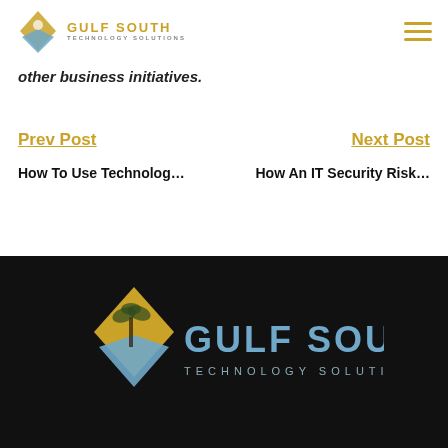Gulf South Technology Solutions
other business initiatives.
Prev Post   Next Post
How To Use Technolog...   How An IT Security Risk...
[Figure (logo): Gulf South Technology Solutions logo in footer on black background]